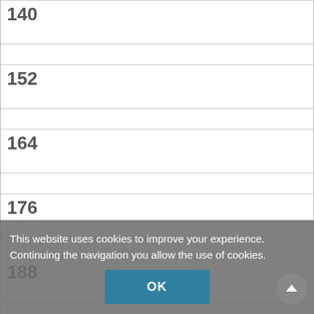| Size |
| --- |
| 140 |
| 152 |
| 164 |
| 176 |
| 188 |
| L |
| XL |
| XXL |
This website uses cookies to improve your experience. Continuing the navigation you allow the use of cookies.
OK